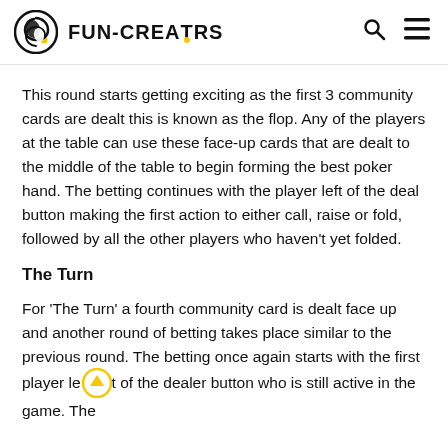FUN-CREATORS
This round starts getting exciting as the first 3 community cards are dealt this is known as the flop. Any of the players at the table can use these face-up cards that are dealt to the middle of the table to begin forming the best poker hand. The betting continues with the player left of the deal button making the first action to either call, raise or fold, followed by all the other players who haven't yet folded.
The Turn
For 'The Turn' a fourth community card is dealt face up and another round of betting takes place similar to the previous round. The betting once again starts with the first player left of the dealer button who is still active in the game. The